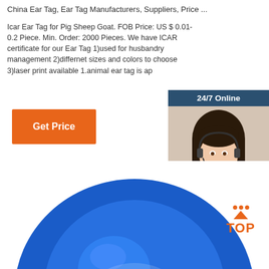China Ear Tag, Ear Tag Manufacturers, Suppliers, Price ...
Icar Ear Tag for Pig Sheep Goat. FOB Price: US $ 0.01-0.2 Piece. Min. Order: 2000 Pieces. We have ICAR certificate for our Ear Tag 1)used for husbandry management 2)differnet sizes and colors to choose 3)laser print available 1.animal ear tag is ap
[Figure (screenshot): Orange 'Get Price' button]
[Figure (screenshot): 24/7 Online chat widget with woman wearing headset, 'Click here for free chat!' text, and orange QUOTATION button]
[Figure (photo): Blue plastic ear tag product photo at bottom of page]
[Figure (other): Orange 'TOP' scroll-to-top button with dots and triangle arrow]